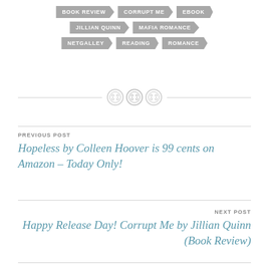BOOK REVIEW | CORRUPT ME | EBOOK
JILLIAN QUINN | MAFIA ROMANCE
NETGALLEY | READING | ROMANCE
[Figure (illustration): Three decorative button icons on a horizontal dotted divider line]
PREVIOUS POST
Hopeless by Colleen Hoover is 99 cents on Amazon – Today Only!
NEXT POST
Happy Release Day! Corrupt Me by Jillian Quinn (Book Review)